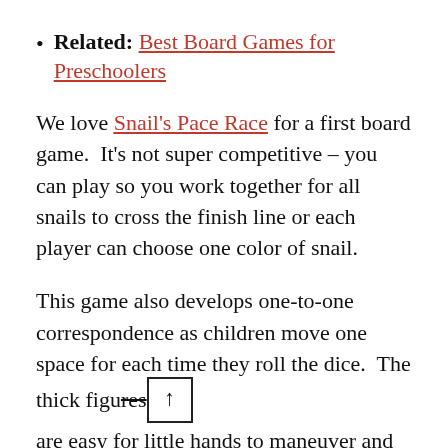Related: Best Board Games for Preschoolers
We love Snail’s Pace Race for a first board game. It’s not super competitive – you can play so you work together for all snails to cross the finish line or each player can choose one color of snail.
This game also develops one-to-one correspondence as children move one space for each time they roll the dice. The thick figures are easy for little hands to maneuver and sturdy.